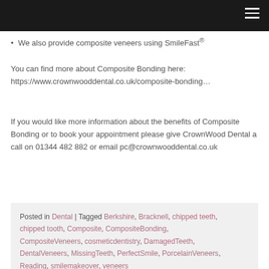We also provide composite veneers using SmileFast®
You can find more about Composite Bonding here: https://www.crownwooddental.co.uk/composite-bonding…
If you would like more information about the benefits of Composite Bonding or to book your appointment please give CrownWood Dental a call on 01344 482 882 or email pc@crownwooddental.co.uk
Posted in Dental | Tagged Berkshire, Bracknell, chipped teeth, chipped tooth, Composite, CompositeBonding, CompositeVeneers, cosmeticdentistry, DamagedTeeth, DentalVeneers, MissingTeeth, PerfectSmile, PorcelainVeneers, Reading, smilemakeover, veneers
Search
CATEGORIES